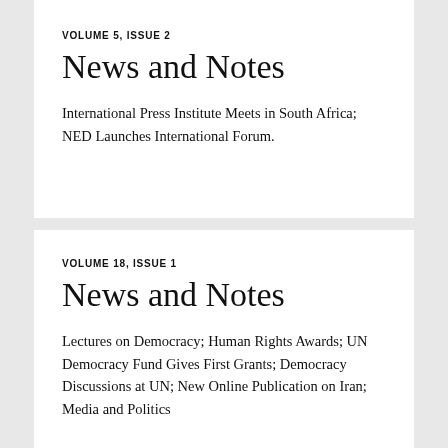VOLUME 5, ISSUE 2
News and Notes
International Press Institute Meets in South Africa; NED Launches International Forum.
VOLUME 18, ISSUE 1
News and Notes
Lectures on Democracy; Human Rights Awards; UN Democracy Fund Gives First Grants; Democracy Discussions at UN; New Online Publication on Iran; Media and Politics